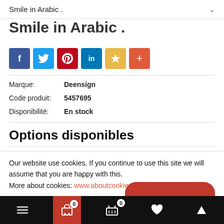Smile in Arabic .
Smile in Arabic .
[Figure (infographic): Row of social media share buttons: Facebook (blue), Twitter (light blue), Pinterest (red), LinkedIn (dark blue), Favorite/star (gold), Plus/add (orange-red)]
Marque: Deensign
Code produit: 5457695
Disponibilité: En stock
Options disponibles
Our website use cookies. If you continue to use this site we will assume that you are happy with this.
More about cookies: www.aboutcookies.org
[Figure (screenshot): Bottom navigation bar with hamburger menu, cart icon, basket with badge 0, heart, and up-arrow icons]